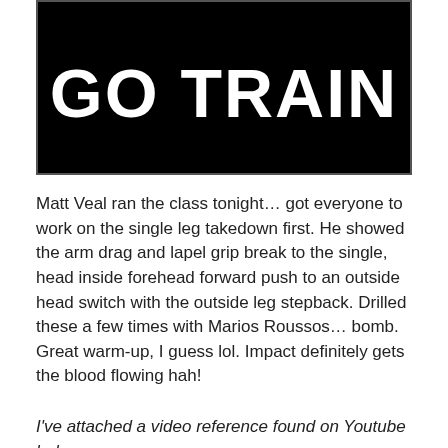[Figure (illustration): Black banner image with large white bold text reading 'GO TRAIN']
Matt Veal ran the class tonight… got everyone to work on the single leg takedown first. He showed the arm drag and lapel grip break to the single, head inside forehead forward push to an outside head switch with the outside leg stepback. Drilled these a few times with Marios Roussos… bomb. Great warm-up, I guess lol. Impact definitely gets the blood flowing hah!
I've attached a video reference found on Youtube below...